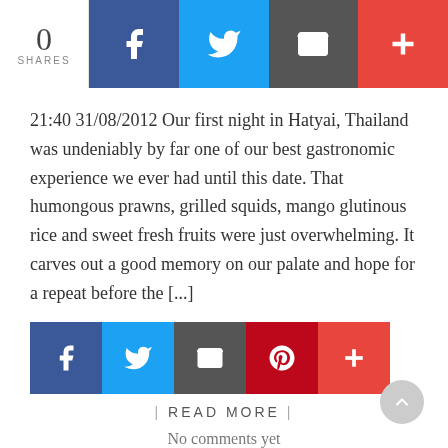[Figure (infographic): Social sharing bar with 0 shares count and Facebook, Twitter, Email, and plus icons]
21:40 31/08/2012 Our first night in Hatyai, Thailand was undeniably by far one of our best gastronomic experience we ever had until this date. That humongous prawns, grilled squids, mango glutinous rice and sweet fresh fruits were just overwhelming. It carves out a good memory on our palate and hope for a repeat before the [...]
[Figure (infographic): Small social sharing icons: Facebook, Twitter, Email, Pinterest, Plus]
| READ MORE |
No comments yet